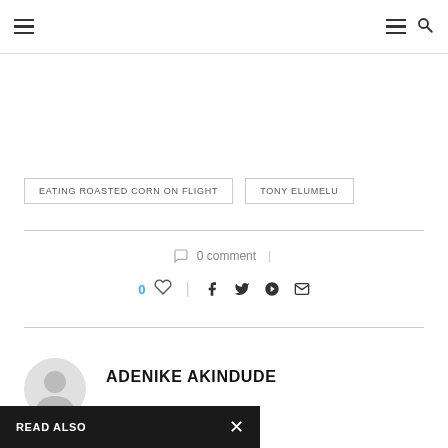Navigation header with hamburger menu and search icon
EATING ROASTED CORN ON FLIGHT
TONY ELUMELU
0 comment
0 likes, share icons: facebook, twitter, pinterest, email
ADENIKE AKINDUDE
READ ALSO